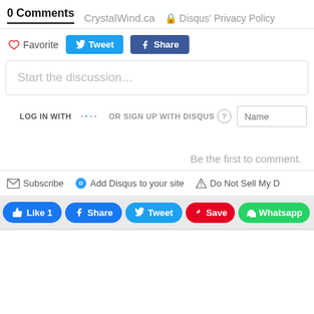0 Comments   CrystalWind.ca   🔒 Disqus' Privacy Policy
♡ Favorite   Tweet   Share
Start the discussion...
LOG IN WITH
OR SIGN UP WITH DISQUS ?
Name
Be the first to comment.
Subscribe   Add Disqus to your site   Do Not Sell My D
Like 1   Share   Tweet   Save   Whatsapp